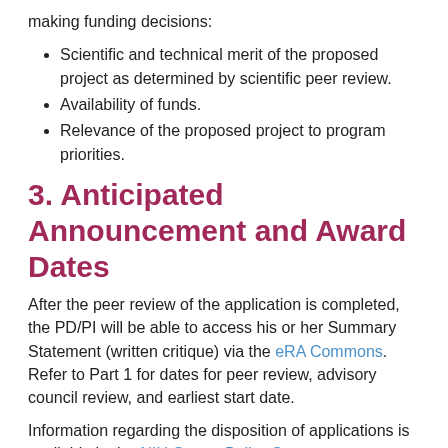making funding decisions:
Scientific and technical merit of the proposed project as determined by scientific peer review.
Availability of funds.
Relevance of the proposed project to program priorities.
3. Anticipated Announcement and Award Dates
After the peer review of the application is completed, the PD/PI will be able to access his or her Summary Statement (written critique) via the eRA Commons. Refer to Part 1 for dates for peer review, advisory council review, and earliest start date.
Information regarding the disposition of applications is available in the NIH Grants Policy Statement.
Section VI. Award Administration Information